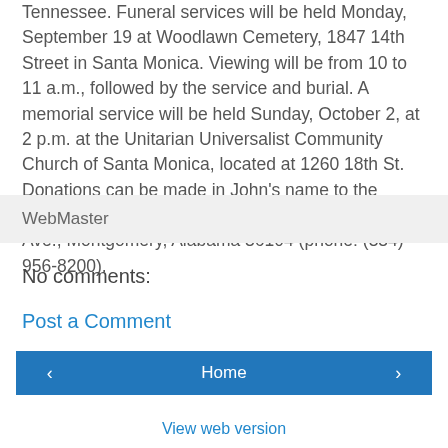Tennessee. Funeral services will be held Monday, September 19 at Woodlawn Cemetery, 1847 14th Street in Santa Monica. Viewing will be from 10 to 11 a.m., followed by the service and burial. A memorial service will be held Sunday, October 2, at 2 p.m. at the Unitarian Universalist Community Church of Santa Monica, located at 1260 18th St. Donations can be made in John's name to the Southern Poverty Law Center, 400 Washington Ave., Montgomery, Alabama 36104 (phone: (334) 956-8200).
WebMaster
No comments:
Post a Comment
Home | View web version